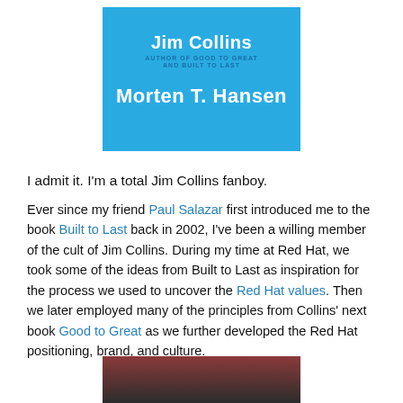[Figure (illustration): Book cover with cyan/blue background showing 'Jim Collins, Author of Good to Great' and 'Morten T. Hansen']
I admit it. I'm a total Jim Collins fanboy.
Ever since my friend Paul Salazar first introduced me to the book Built to Last back in 2002, I've been a willing member of the cult of Jim Collins. During my time at Red Hat, we took some of the ideas from Built to Last as inspiration for the process we used to uncover the Red Hat values. Then we later employed many of the principles from Collins' next book Good to Great as we further developed the Red Hat positioning, brand, and culture.
[Figure (photo): Partial photo at the bottom of the page, cropped]